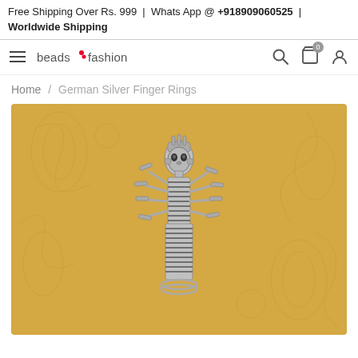Free Shipping Over Rs. 999 | Whats App @ +918909060525 | Worldwide Shipping
[Figure (logo): Beads n Fashion logo with hamburger menu icon and navigation icons (search, cart with 0, user profile)]
Home / German Silver Finger Rings
[Figure (photo): A silver German Silver Finger Ring featuring a multi-armed deity figurine (resembling Goddess Durga/Kali) in oxidized silver finish, photographed on a golden decorative floral background.]